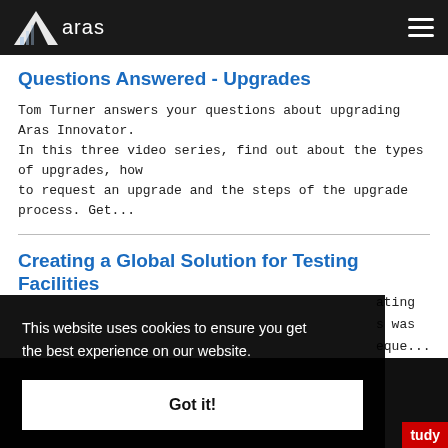aras
Questions Answered - Upgrades
Tom Turner answers your questions about upgrading Aras Innovator. In this three video series, find out about the types of upgrades, how to request an upgrade and the steps of the upgrade process. Get...
Creating a Global Solution for Testing Facilities
...ating ...s was ...eque...
This website uses cookies to ensure you get the best experience on our website.
Got it!